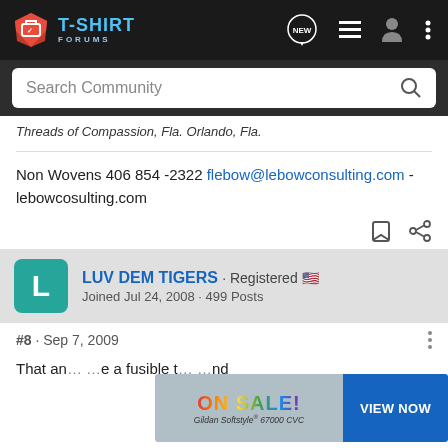T-SHIRT FORUMS
Threads of Compassion, Fla. Orlando, Fla.
Non Wovens 406 854 -2322 flebow@lebowconsulting.com - lebowcosulting.com
LUV DEM TIGERS · Registered
Joined Jul 24, 2008 · 499 Posts
#8 · Sep 7, 2009
That an... ...e a fusible t... ...nd
[Figure (screenshot): ON SALE! advertisement banner for Gildan Softstyle 67000 CVC with VIEW NOW button]